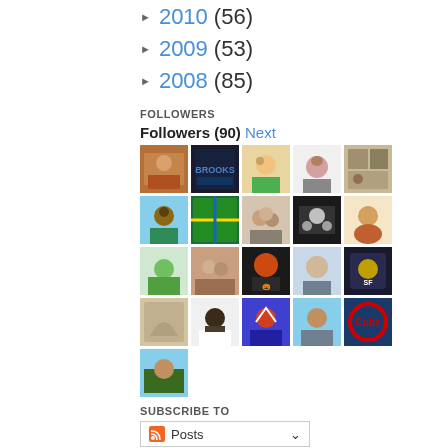► 2010 (56)
► 2009 (53)
► 2008 (85)
FOLLOWERS
Followers (90) Next
[Figure (photo): Grid of 21 follower avatar thumbnails arranged in 5 columns and 5 rows (last row has 1 avatar)]
SUBSCRIBE TO
Posts